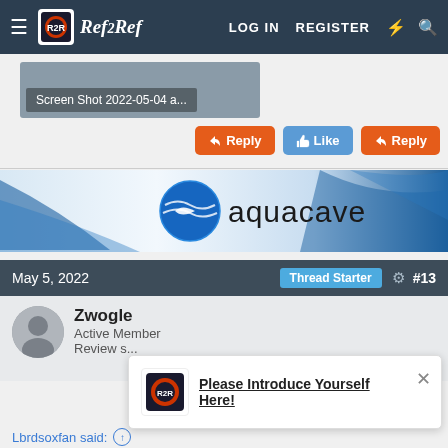≡  Ref2Ref  LOG IN  REGISTER  ⚡  🔍
[Figure (screenshot): Screenshot thumbnail with tooltip label: Screen Shot 2022-05-04 a...]
↩ Reply   👍 Like   ↩ Reply
[Figure (logo): Aquacave logo banner with blue swoosh design and text aquacave]
May 5, 2022   Thread Starter   #13
Zwogle
Active Member
Review s...
Please Introduce Yourself Here!
Lbrdsoxfan said: ↑